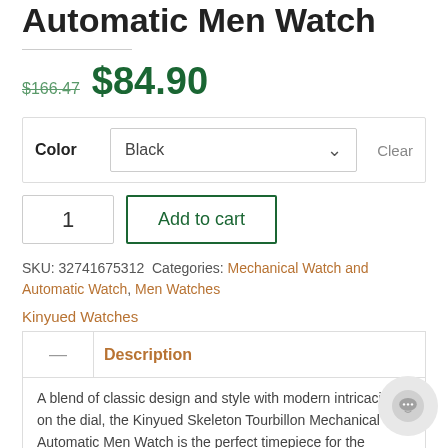Automatic Men Watch
$166.47  $84.90
Color  Black  Clear
1  Add to cart
SKU: 32741675312  Categories: Mechanical Watch and Automatic Watch, Men Watches
Kinyued Watches
| — | Description |
| --- | --- |
|  | A blend of classic design and style with modern intricacies on the dial, the Kinyued Skeleton Tourbillon Mechanical Automatic Men Watch is the perfect timepiece for the |